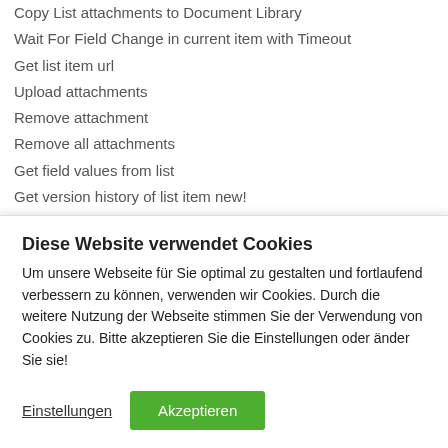Copy List attachments to Document Library
Wait For Field Change in current item with Timeout
Get list item url
Upload attachments
Remove attachment
Remove all attachments
Get field values from list
Get version history of list item new!
Get list item url extended new!
Diese Website verwendet Cookies
Um unsere Webseite für Sie optimal zu gestalten und fortlaufend verbessern zu können, verwenden wir Cookies. Durch die weitere Nutzung der Webseite stimmen Sie der Verwendung von Cookies zu. Bitte akzeptieren Sie die Einstellungen oder änder Sie sie!
Einstellungen   Akzeptieren